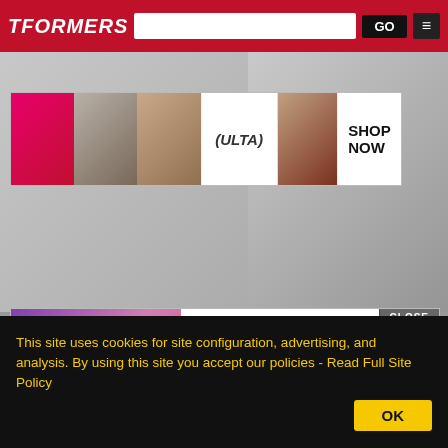TFORMERS
[Figure (screenshot): ULTA beauty advertisement banner with makeup product images and SHOP NOW button]
DATA CENTER
Related news:
NYCC 2012 - First Look at Transformers Prime Beast Hunters PR...
Transformers Prime Season 3 and...
Revealed...
Hasbro Trademark Beast Hunters
[Figure (screenshot): MAC cosmetics advertisement with lipstick images and SHOP NOW box, with CLOSE button]
This site uses cookies for site configuration, advertising, and analysis. By using this site you accept our policies - Read Full Site Policy OK